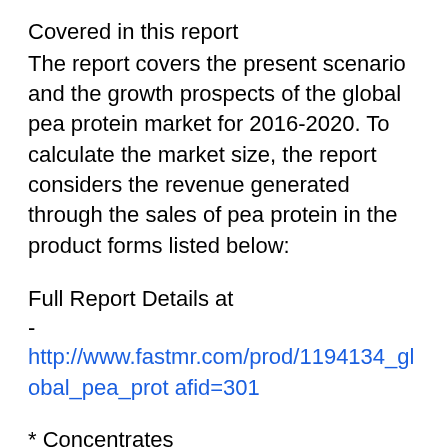Covered in this report
The report covers the present scenario and the growth prospects of the global pea protein market for 2016-2020. To calculate the market size, the report considers the revenue generated through the sales of pea protein in the product forms listed below:
Full Report Details at
-
http://www.fastmr.com/prod/1194134_global_pea_prot afid=301
* Concentrates
* Isolates
* Textured